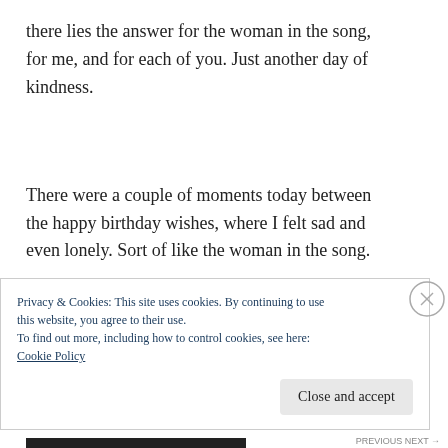there lies the answer for the woman in the song, for me, and for each of you. Just another day of kindness.
There were a couple of moments today between the happy birthday wishes, where I felt sad and even lonely. Sort of like the woman in the song.
Privacy & Cookies: This site uses cookies. By continuing to use this website, you agree to their use.
To find out more, including how to control cookies, see here: Cookie Policy
Close and accept